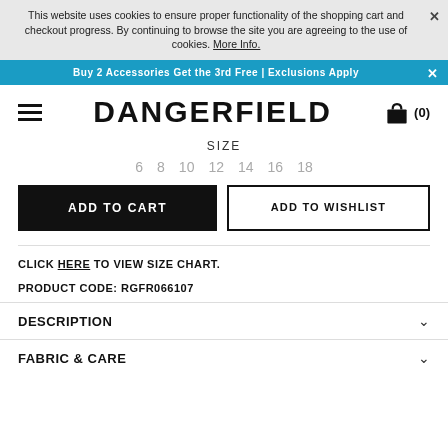This website uses cookies to ensure proper functionality of the shopping cart and checkout progress. By continuing to browse the site you are agreeing to the use of cookies. More Info.
Buy 2 Accessories Get the 3rd Free | Exclusions Apply
DANGERFIELD
SIZE
6  8  10  12  14  16  18
ADD TO CART
ADD TO WISHLIST
CLICK HERE TO VIEW SIZE CHART.
PRODUCT CODE: RGFR066107
DESCRIPTION
FABRIC & CARE